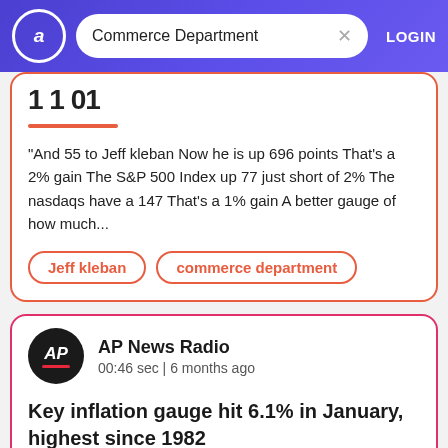Commerce Department | LOGIN
"And 55 to Jeff kleban Now he is up 696 points That's a 2% gain The S&P 500 Index up 77 just short of 2% The nasdaqs have a 147 That's a 1% gain A better gauge of how much...
Jeff kleban
commerce department
AP News Radio
00:46 sec | 6 months ago
Key inflation gauge hit 6.1% in January, highest since 1982